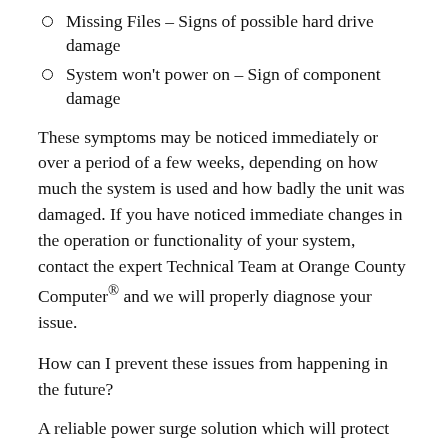Missing Files – Signs of possible hard drive damage
System won't power on – Sign of component damage
These symptoms may be noticed immediately or over a period of a few weeks, depending on how much the system is used and how badly the unit was damaged. If you have noticed immediate changes in the operation or functionality of your system, contact the expert Technical Team at Orange County Computer® and we will properly diagnose your issue.
How can I prevent these issues from happening in the future?
A reliable power surge solution which will protect your systems from electrical surges and outages is to use an Uninterrupted Power Supply (UPS). There are several different types to choose from, but typically there are 2 mainstream options depending on the type of components you are planning to protect.